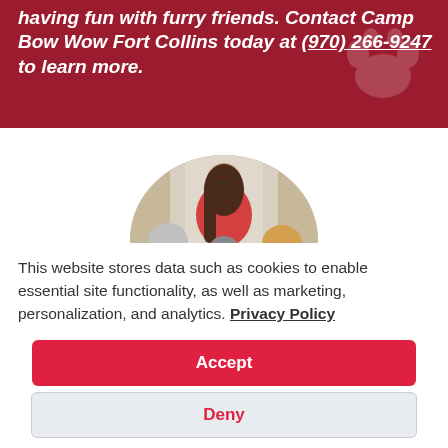having fun with furry friends. Contact Camp Bow Wow Fort Collins today at (970) 266-9247 to learn more.
[Figure (photo): A smiling woman in a red shirt posing with three dogs — a fluffy gray dog, a black and white dog, and a golden retriever — in a circular cropped photo.]
This website stores data such as cookies to enable essential site functionality, as well as marketing, personalization, and analytics. Privacy Policy
Accept
Deny